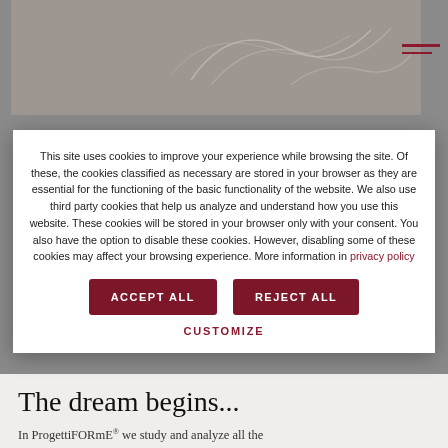[Figure (photo): Grayscale photo of what appears to be a sketch or illustration with light lines on a gray background, partially visible behind cookie consent modal]
This site uses cookies to improve your experience while browsing the site. Of these, the cookies classified as necessary are stored in your browser as they are essential for the functioning of the basic functionality of the website. We also use third party cookies that help us analyze and understand how you use this website. These cookies will be stored in your browser only with your consent. You also have the option to disable these cookies. However, disabling some of these cookies may affect your browsing experience. More information in privacy policy
ACCEPT ALL
REJECT ALL
CUSTOMIZE
The dream begins...
In ProgettiFORmE® we study and analyze all the